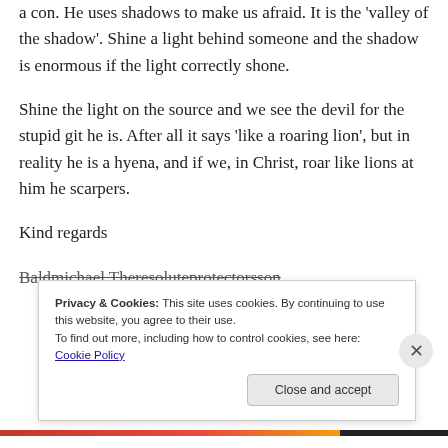a con. He uses shadows to make us afraid. It is the 'valley of the shadow'. Shine a light behind someone and the shadow is enormous if the light correctly shone.
Shine the light on the source and we see the devil for the stupid git he is. After all it says 'like a roaring lion', but in reality he is a hyena, and if we, in Christ, roar like lions at him he scarpers.
Kind regards
Baldmichael Theresoluteprotectorsson
Privacy & Cookies: This site uses cookies. By continuing to use this website, you agree to their use.
To find out more, including how to control cookies, see here: Cookie Policy